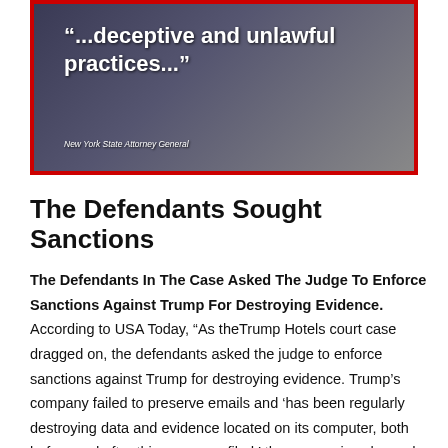[Figure (photo): Dark background image of a person in a suit with overlaid quote text reading '...deceptive and unlawful practices...' attributed to New York State Attorney General, framed with red border]
The Defendants Sought Sanctions
The Defendants In The Case Asked The Judge To Enforce Sanctions Against Trump For Destroying Evidence. According to USA Today, “As theTrump Hotels court case dragged on, the defendants asked the judge to enforce sanctions against Trump for destroying evidence. Trump’s company failed to preserve emails and 'has been regularly destroying data and evidence located on its computer, both before and after this case was filed,' the companies charged in a May 2007 motion.